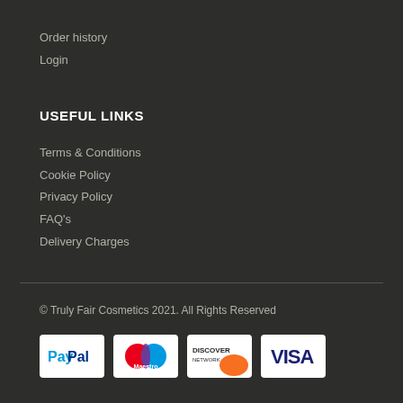Order history
Login
USEFUL LINKS
Terms & Conditions
Cookie Policy
Privacy Policy
FAQ's
Delivery Charges
© Truly Fair Cosmetics 2021. All Rights Reserved
[Figure (logo): PayPal payment logo]
[Figure (logo): Maestro payment logo]
[Figure (logo): Discover Network payment logo]
[Figure (logo): Visa payment logo]